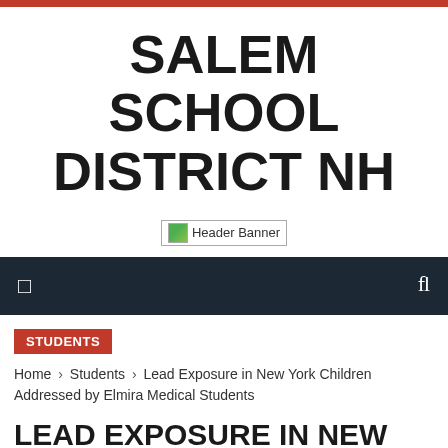SALEM SCHOOL DISTRICT NH
[Figure (illustration): Header Banner image placeholder with broken image icon and text 'Header Banner']
Navigation bar with menu icon and search icon
STUDENTS
Home › Students › Lead Exposure in New York Children Addressed by Elmira Medical Students
LEAD EXPOSURE IN NEW YORK CHILDREN ADDRESSED BY ELMIRA